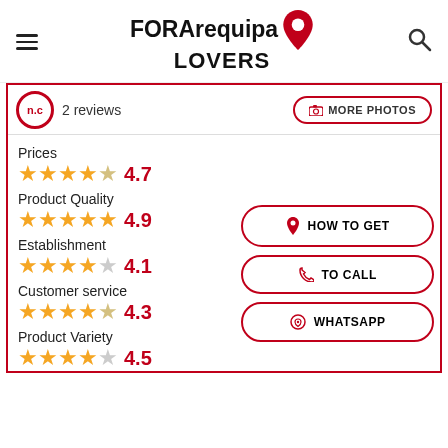FOR Arequipa LOVERS
n.c — 2 reviews
MORE PHOTOS
Prices 4.7
Product Quality 4.9
Establishment 4.1
Customer service 4.3
Product Variety 4.5
HOW TO GET
TO CALL
WHATSAPP